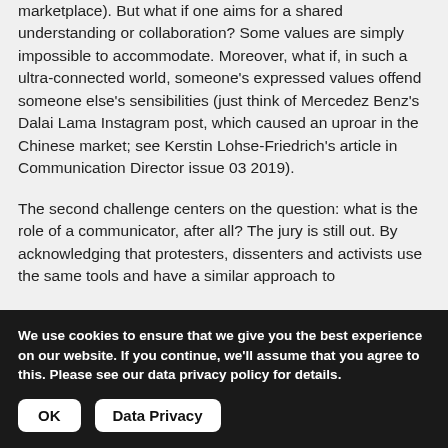marketplace). But what if one aims for a shared understanding or collaboration? Some values are simply impossible to accommodate. Moreover, what if, in such a ultra-connected world, someone's expressed values offend someone else's sensibilities (just think of Mercedez Benz's Dalai Lama Instagram post, which caused an uproar in the Chinese market; see Kerstin Lohse-Friedrich's article in Communication Director issue 03 2019).
The second challenge centers on the question: what is the role of a communicator, after all? The jury is still out. By acknowledging that protesters, dissenters and activists use the same tools and have a similar approach to
We use cookies to ensure that we give you the best experience on our website. If you continue, we'll assume that you agree to this. Please see our data privacy policy for details.